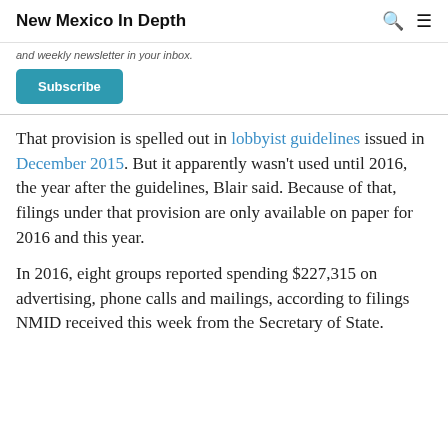New Mexico In Depth
and weekly newsletter in your inbox.
Subscribe
That provision is spelled out in lobbyist guidelines issued in December 2015. But it apparently wasn’t used until 2016, the year after the guidelines, Blair said. Because of that, filings under that provision are only available on paper for 2016 and this year.
In 2016, eight groups reported spending $227,315 on advertising, phone calls and mailings, according to filings NMID received this week from the Secretary of State.